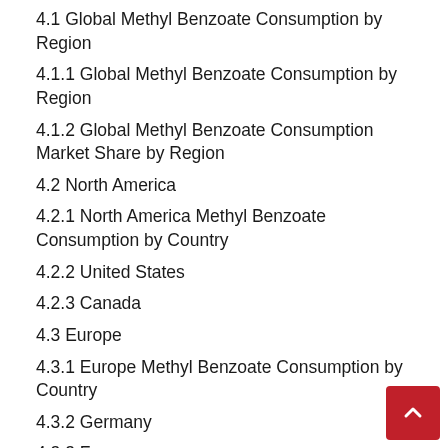4.1 Global Methyl Benzoate Consumption by Region
4.1.1 Global Methyl Benzoate Consumption by Region
4.1.2 Global Methyl Benzoate Consumption Market Share by Region
4.2 North America
4.2.1 North America Methyl Benzoate Consumption by Country
4.2.2 United States
4.2.3 Canada
4.3 Europe
4.3.1 Europe Methyl Benzoate Consumption by Country
4.3.2 Germany
4.3.3 France
4.3.4 U.K.